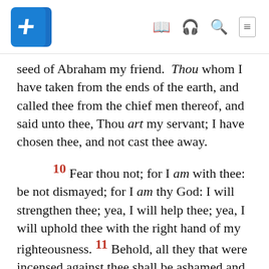Bible app header with logo and navigation icons
seed of Abraham my friend. Thou whom I have taken from the ends of the earth, and called thee from the chief men thereof, and said unto thee, Thou art my servant; I have chosen thee, and not cast thee away.
10 Fear thou not; for I am with thee: be not dismayed; for I am thy God: I will strengthen thee; yea, I will help thee; yea, I will uphold thee with the right hand of my righteousness. 11 Behold, all they that were incensed against thee shall be ashamed and confounded: they shall be as nothing; and they that strive with thee shall perish. (g) 12 Thou shalt seek them, and shalt not find them, even them that contended with thee: they that war against thee shall be as nothing, and as a thing of nought. (h) (i)